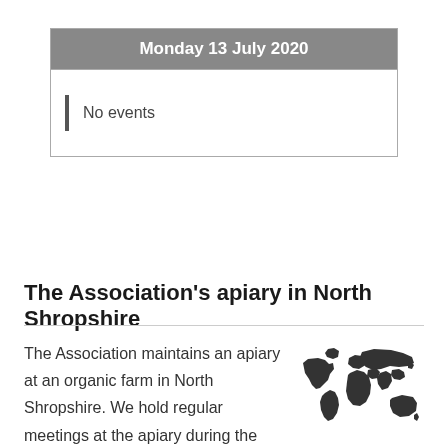| Monday 13 July 2020 |
| --- |
| | No events |
The Association's apiary in North Shropshire
The Association maintains an apiary at an organic farm in North Shropshire. We hold regular meetings at the apiary during the summer, where members old and
[Figure (illustration): Greyscale world map illustration showing continents]